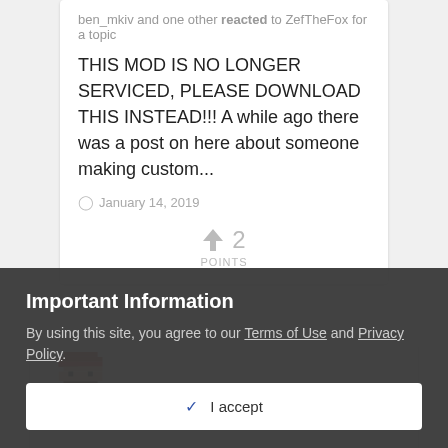ben_mkiv and one other reacted to ZefTheFox for a topic
THIS MOD IS NO LONGER SERVICED, PLEASE DOWNLOAD THIS INSTEAD!!! A while ago there was a post on here about someone making custom...
January 14, 2019
2 POINTS
[Figure (illustration): Pixel art avatar of a red character resembling a retro video game sprite]
Important Information
By using this site, you agree to our Terms of Use and Privacy Policy.
I accept